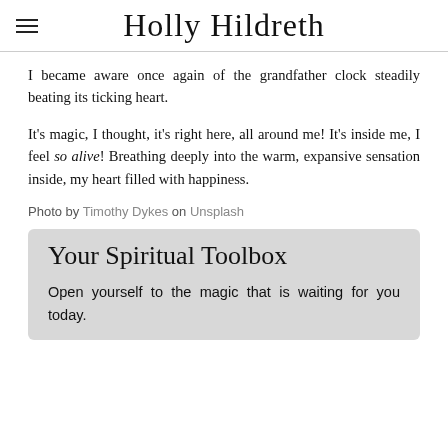Holly Hildreth
I became aware once again of the grandfather clock steadily beating its ticking heart.
It's magic, I thought, it's right here, all around me! It's inside me, I feel so alive! Breathing deeply into the warm, expansive sensation inside, my heart filled with happiness.
Photo by Timothy Dykes on Unsplash
Your Spiritual Toolbox
Open yourself to the magic that is waiting for you today.